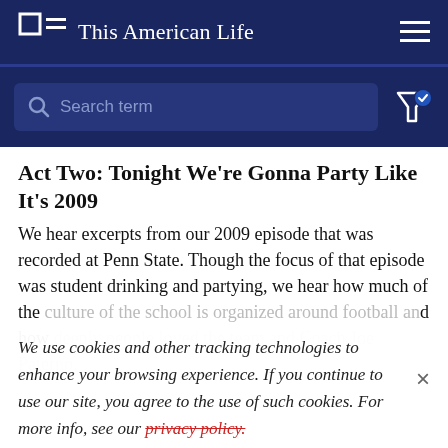This American Life
Search term
Act Two: Tonight We're Gonna Party Like It's 2009
We hear excerpts from our 2009 episode that was recorded at Penn State. Though the focus of that episode was student drinking and partying, we hear how much of the culture of the school is organized around football and how deeply people loved the team and Coach Joe Paterno.
We use cookies and other tracking technologies to enhance your browsing experience. If you continue to use our site, you agree to the use of such cookies. For more info, see our privacy policy.
Originally aired Sept. 16, 2011
Act Two: Yerrrrr Out!